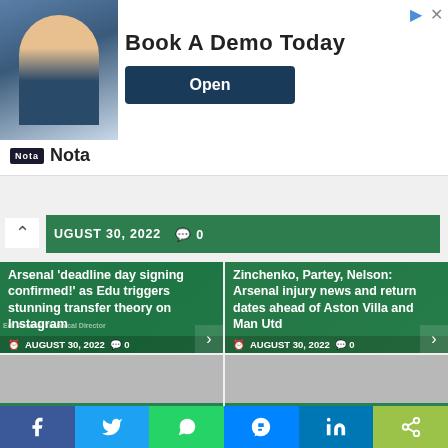[Figure (photo): Advertisement banner: Man in glasses sitting at desk with laptop, text 'Book A Demo Today' and Open button, Nota logo below]
AUGUST 30, 2022  🗨 0
[Figure (photo): Article card: Arsenal deadline day signing confirmed as Edu triggers stunning transfer theory on Instagram. AUGUST 30, 2022. 0 comments.]
[Figure (photo): Article card: Zinchenko, Partey, Nelson: Arsenal injury news and return dates ahead of Aston Villa and Man Utd. AUGUST 30, 2022. 0 comments.]
[Figure (photo): Article card: Transfer: Joel Glazer, Ten Hag disagree over Man Utd...]
[Figure (photo): Article card: Transfer: Willian set to undergo medical with...]
[Figure (other): Social sharing bar with Facebook, Twitter, WhatsApp, Messenger, LinkedIn, Share buttons]